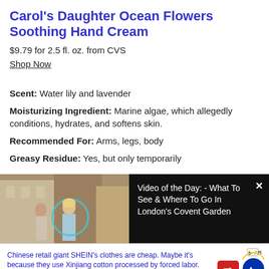Carol's Daughter Ocean Flowers Soothing Hand Cream
$9.79 for 2.5 fl. oz. from CVS
Shop Now
Scent: Water lily and lavender
Moisturizing Ingredient: Marine algae, which allegedly conditions, hydrates, and softens skin.
Recommended For: Arms, legs, body
Greasy Residue: Yes, but only temporarily
[Figure (screenshot): Video thumbnail showing two women on a street in London, with a teal circle overlay. Text reads: Video of the Day: - What To See & Where To Go In London's Covent Garden]
Chinese retail giant SHEIN's clothes are cheap. Maybe it's because they use Xinjiang cotton processed by forced labor. How are they getting away with it?